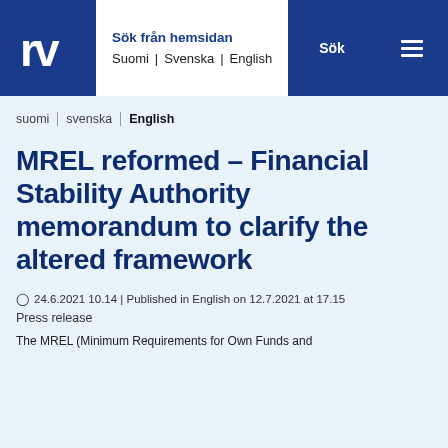Sök från hemsidan | Suomi | Svenska | English | Sök
suomi | svenska | English
MREL reformed – Financial Stability Authority memorandum to clarify the altered framework
24.6.2021 10.14 | Published in English on 12.7.2021 at 17.15
Press release
The MREL (Minimum Requirements for Own Funds and